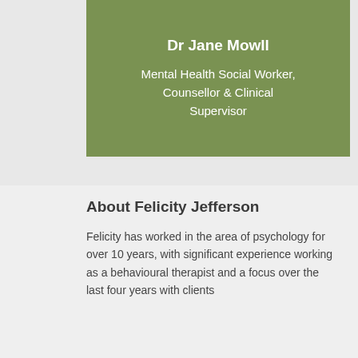Dr Jane Mowll
Mental Health Social Worker, Counsellor & Clinical Supervisor
About Felicity Jefferson
Felicity has worked in the area of psychology for over 10 years, with significant experience working as a behavioural therapist and a focus over the last four years with clients